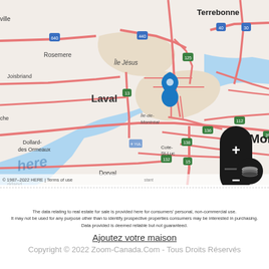[Figure (map): Street map of Montreal and surrounding region (Laval, Longueuil, Boucherville, Terrebonne, Brossard, Dorval, etc.) with a blue location pin marker near downtown Montreal. Map includes highway labels (640, 440, 40, 30, 125, 19, 13, 20, 136, 138, 132, 112, 15, YUL), city names, and a 10 km scale bar. Zoom controls (+/-) and a layers button are visible on the right side. Map attribution reads '© 1987-2022 HERE | Terms of use'.]
The data relating to real estate for sale is provided here for consumers' personal, non-commercial use. It may not be used for any purpose other than to identify prospective properties consumers may be interested in purchasing. Data provided is deemed reliable but not guaranteed.
Ajoutez votre maison
Copyright © 2022 Zoom-Canada.Com - Tous Droits Réservés